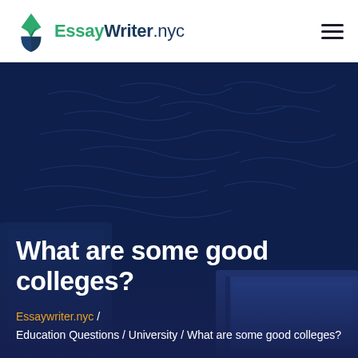EssayWriter.nyc
[Figure (photo): Dark blue background hero image showing handwritten notes and books, overlaid with dark navy blue tones. Books visible in lower right corner.]
What are some good colleges?
Essaywriter.nyc / Education Questions / University / What are some good colleges?